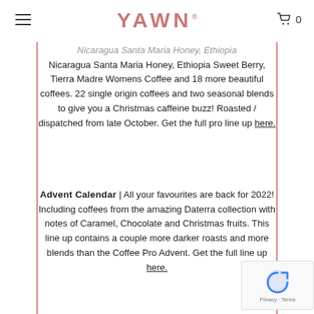YAWN
Nicaragua Santa Maria Honey, Ethiopia Sweet Berry, Tierra Madre Womens Coffee and 18 more beautiful coffees. 22 single origin coffees and two seasonal blends to give you a Christmas caffeine buzz! Roasted / dispatched from late October. Get the full pro line up here.
Advent Calendar | All your favourites are back for 2022! Including coffees from the amazing Daterra collection with notes of Caramel, Chocolate and Christmas fruits. This line up contains a couple more darker roasts and more blends than the Coffee Pro Advent. Get the full line up here.